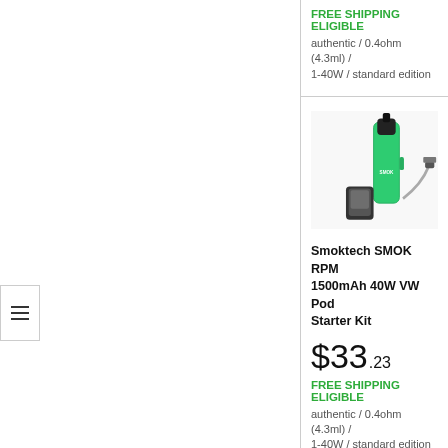FREE SHIPPING ELIGIBLE
authentic / 0.4ohm (4.3ml) / 1-40W / standard edition
[Figure (photo): Smoktech SMOK RPM pod vape starter kit with green device, pod, and USB cable]
Smoktech SMOK RPM 1500mAh 40W VW Pod Starter Kit
$33.23
FREE SHIPPING ELIGIBLE
authentic / 0.4ohm (4.3ml) / 1-40W / standard edition